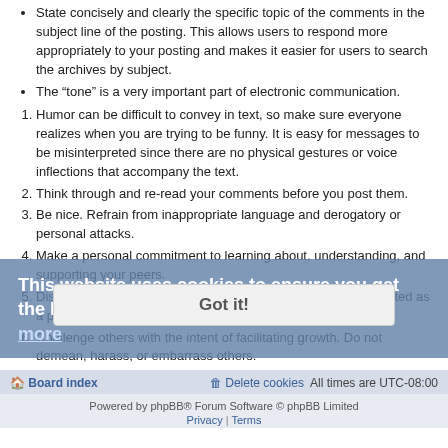State concisely and clearly the specific topic of the comments in the subject line of the posting. This allows users to respond more appropriately to your posting and makes it easier for users to search the archives by subject.
The "tone" is a very important part of electronic communication.
Humor can be difficult to convey in text, so make sure everyone realizes when you are trying to be funny. It is easy for messages to be misinterpreted since there are no physical gestures or voice inflections that accompany the text.
Think through and re-read your comments before you post them.
Be nice. Refrain from inappropriate language and derogatory or personal attacks.
Make a personal commitment to learning about, understanding, and supporting your peers.
Disagree with ideas, but avoid challenges that may be interpreted as a personal attack.
Challenge others with the intent of facilitating growth. Do not demean, harass, or embarrass others.
Encourage others to develop and share their ideas.
This website uses cookies to ensure you get the best experience on our website.  Learn more
Got it!
Board index   Delete cookies   All times are UTC-08:00
Powered by phpBB® Forum Software © phpBB Limited   Privacy | Terms